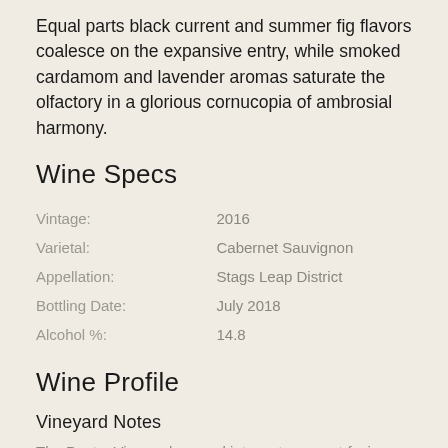Equal parts black current and summer fig flavors coalesce on the expansive entry, while smoked cardamom and lavender aromas saturate the olfactory in a glorious cornucopia of ambrosial harmony.
Wine Specs
| Label | Value |
| --- | --- |
| Vintage: | 2016 |
| Varietal: | Cabernet Sauvignon |
| Appellation: | Stags Leap District |
| Bottling Date: | July 2018 |
| Alcohol %: | 14.8 |
Wine Profile
Vineyard Notes
The Poetry Vineyard, carved into a steep west-facing hillside, reaches from the highest elevations of the